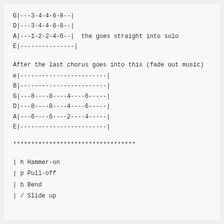G|---3-4-4-6-8--|
D|---3-4-4-6-8--|
A|---1-2-2-4-6--|  the goes straight into solo
E|---------------|
After the last chorus goes into this (fade out music)
e|------------------------|
B|------------------------|
G|---8----8----4----6-----|
D|---8----8----4----6-----|
A|---6----6----2----4-----|
E|------------------------|
**********************************
| h  Hammer-on
| p  Pull-off
| b  Bend
| /  Slide up